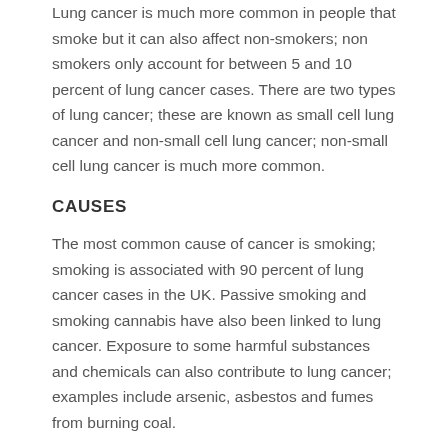Lung cancer is much more common in people that smoke but it can also affect non-smokers; non smokers only account for between 5 and 10 percent of lung cancer cases. There are two types of lung cancer; these are known as small cell lung cancer and non-small cell lung cancer; non-small cell lung cancer is much more common.
CAUSES
The most common cause of cancer is smoking; smoking is associated with 90 percent of lung cancer cases in the UK. Passive smoking and smoking cannabis have also been linked to lung cancer. Exposure to some harmful substances and chemicals can also contribute to lung cancer; examples include arsenic, asbestos and fumes from burning coal.
SYMPTOMS
Coughing up blood